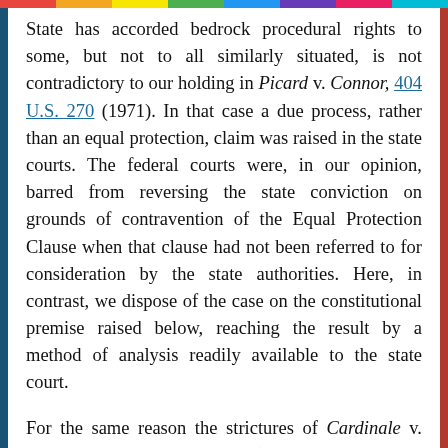State has accorded bedrock procedural rights to some, but not to all similarly situated, is not contradictory to our holding in Picard v. Connor, 404 U.S. 270 (1971). In that case a due process, rather than an equal protection, claim was raised in the state courts. The federal courts were, in our opinion, barred from reversing the state conviction on grounds of contravention of the Equal Protection Clause when that clause had not been referred to for consideration by the state authorities. Here, in contrast, we dispose of the case on the constitutional premise raised below, reaching the result by a method of analysis readily available to the state court.
For the same reason the strictures of Cardinale v. Louisiana, 394 U.S. 437 (1969), and Hill v. California, 401 U.S. 797 (1971), have been fully observed.
1 In reaching out to find a due process issue in this